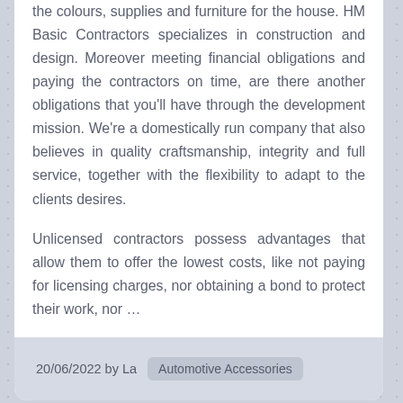the colours, supplies and furniture for the house. HM Basic Contractors specializes in construction and design. Moreover meeting financial obligations and paying the contractors on time, are there another obligations that you'll have through the development mission. We're a domestically run company that also believes in quality craftsmanship, integrity and full service, together with the flexibility to adapt to the clients desires.
Unlicensed contractors possess advantages that allow them to offer the lowest costs, like not paying for licensing charges, nor obtaining a bond to protect their work, nor …
20/06/2022 by La   Automotive Accessories